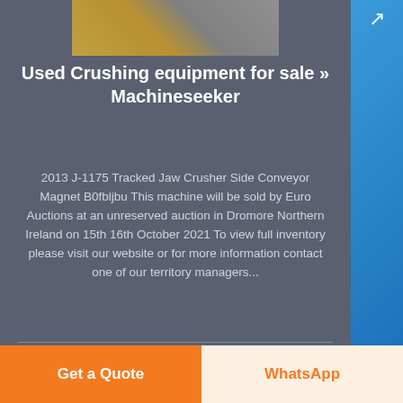[Figure (photo): Top partial image of crushing/mining equipment on a surface]
Used Crushing equipment for sale »
Machineseeker
2013 J-1175 Tracked Jaw Crusher Side Conveyor Magnet B0fbljbu This machine will be sold by Euro Auctions at an unreserved auction in Dromore Northern Ireland on 15th 16th October 2021 To view full inventory please visit our website or for more information contact one of our territory managers...
[Figure (photo): Industrial jaw crusher machine in a warehouse/factory setting, with red circular component visible]
Get a Quote
WhatsApp